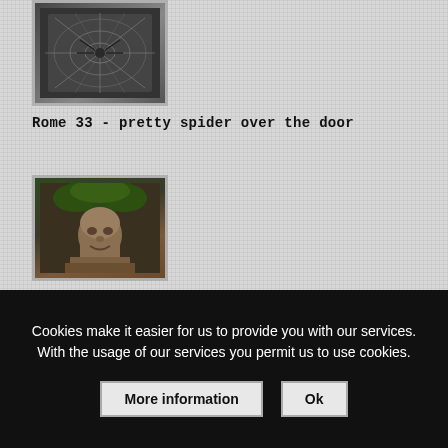[Figure (photo): Photo of decorative spider metalwork over a door, framed in gray border]
Rome 33 - pretty spider over the door
[Figure (photo): Photo of a stone carved face/mask architectural detail on a building facade with foliage above]
Cookies make it easier for us to provide you with our services. With the usage of our services you permit us to use cookies.